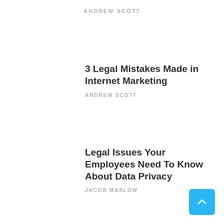ANDREW SCOTT
3 Legal Mistakes Made in Internet Marketing
ANDREW SCOTT
Legal Issues Your Employees Need To Know About Data Privacy
JACOB MASLOW